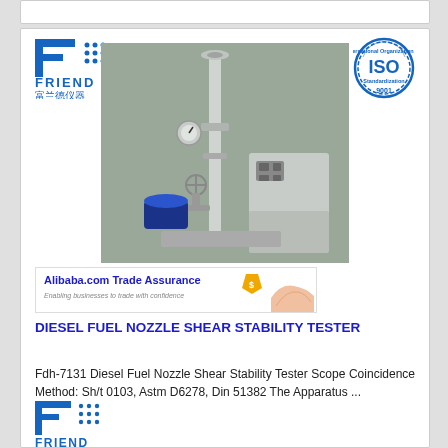[Figure (logo): FRIEND brand logo (top) - blue F letter with dots pattern, FRIEND text, Chinese characters 富兰德仪器]
[Figure (logo): ISO 9001 certification badge - circular blue stamp]
[Figure (photo): Diesel Fuel Nozzle Shear Stability Tester laboratory equipment photo - tall column apparatus with motor and control unit]
[Figure (infographic): Alibaba.com Trade Assurance banner - enabling businesses to trade with confidence, gold shield icon, hands]
DIESEL FUEL NOZZLE SHEAR STABILITY TESTER
Fdh-7131 Diesel Fuel Nozzle Shear Stability Tester Scope Coincidence Method: Sh/t 0103, Astm D6278, Din 51382 The Apparatus ...
[Figure (logo): FRIEND brand logo (bottom) - blue F letter with dots pattern, FRIEND text]